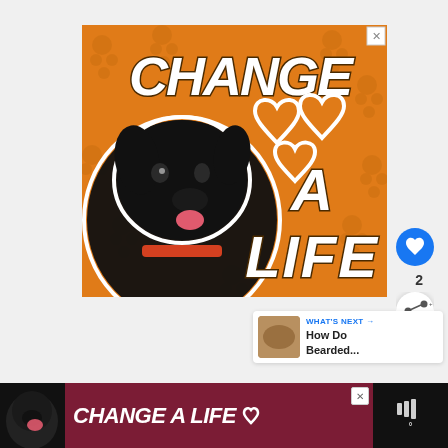[Figure (illustration): Orange advertisement banner featuring a black Labrador dog with white outline, text reading CHANGE A LIFE in bold white/brown italic font, three white heart outlines, on orange background with darker paw print pattern. Small X close button in top right corner.]
[Figure (illustration): Blue circular like/heart button on right side]
2
[Figure (illustration): White circular share button with network share icon]
WHAT'S NEXT → How Do Bearded...
[Figure (illustration): Bottom banner advertisement: black background with small black dog thumbnail, dark red/maroon background with text CHANGE A LIFE in bold white italic font with small heart icon, X close button, and dark right panel with sound/mute icon]